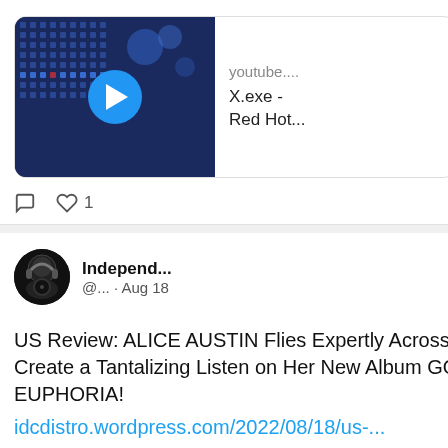[Figure (screenshot): YouTube video embed card showing a music video thumbnail with blue LED grid background and play button, with title 'youtube.... X.exe - Red Hot...']
Comment icon, heart icon, 1
[Figure (screenshot): Twitter/social media post by Independ... @... Aug 18 with blue Twitter bird icon and circular avatar logo]
US Review: ALICE AUSTIN Flies Expertly Across Genres to Create a Tantalizing Listen on Her New Album GOODNIGHT EUPHORIA!
idcdistro.wordpress.com/2022/08/18/us-...
e Austin - Goodnight Euphoria
opens her second full-length effort with the rhythmic rocker "No Such Th... t melds Sheryl Crow sweetness with Courtney Love coarseness. Despite nts at rosiness, "Relentless Sunshine" is slow and filled with despair and